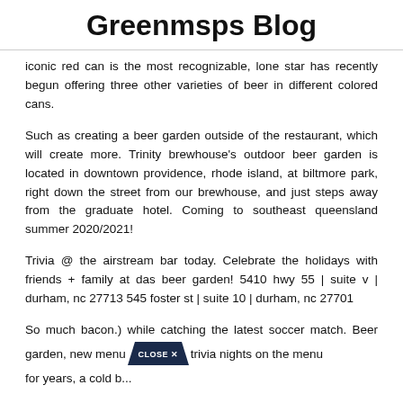Greenmsps Blog
iconic red can is the most recognizable, lone star has recently begun offering three other varieties of beer in different colored cans.
Such as creating a beer garden outside of the restaurant, which will create more. Trinity brewhouse's outdoor beer garden is located in downtown providence, rhode island, at biltmore park, right down the street from our brewhouse, and just steps away from the graduate hotel. Coming to southeast queensland summer 2020/2021!
Trivia @ the airstream bar today. Celebrate the holidays with friends + family at das beer garden! 5410 hwy 55 | suite v | durham, nc 27713 545 foster st | suite 10 | durham, nc 27701
So much bacon.) while catching the latest soccer match. Beer garden, new menu items, trivia nights on the menu for years, a cold b...